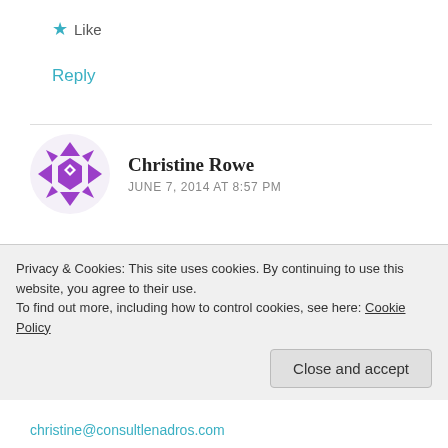★ Like
Reply
[Figure (illustration): Purple geometric snowflake/quilt pattern avatar for Christine Rowe]
Christine Rowe
JUNE 7, 2014 AT 8:57 PM
Gina~ Funny you would be also working with Reiki, even though I work as a project specialist with social entrepreneurial projects, I also resonate with how it's all about the energy. I have one project with a Reiki
Privacy & Cookies: This site uses cookies. By continuing to use this website, you agree to their use.
To find out more, including how to control cookies, see here: Cookie Policy
Close and accept
christine@consultlenadros.com